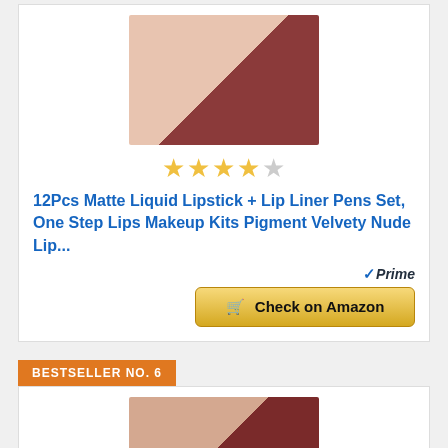[Figure (photo): Product photo of 12Pcs Matte Liquid Lipstick + Lip Liner Pens Set showing multiple lip liner tubes and lip color swatches on a beige background]
★★★★☆
12Pcs Matte Liquid Lipstick + Lip Liner Pens Set, One Step Lips Makeup Kits Pigment Velvety Nude Lip...
[Figure (logo): Amazon Prime checkmark logo with 'Prime' text]
Check on Amazon
BESTSELLER NO. 6
[Figure (photo): Product photo of a lip makeup palette with multiple shades and a closeup of dark matte lips]